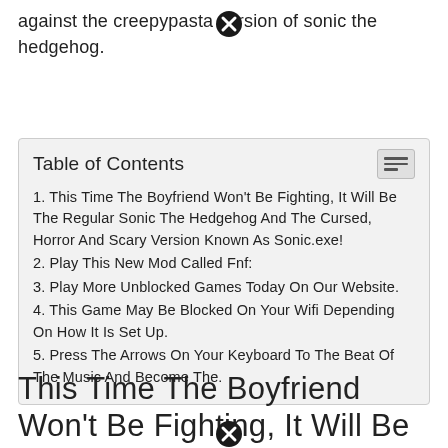against the creepypasta version of sonic the hedgehog.
| Table of Contents |
| --- |
| 1. This Time The Boyfriend Won't Be Fighting, It Will Be The Regular Sonic The Hedgehog And The Cursed, Horror And Scary Version Known As Sonic.exe! |
| 2. Play This New Mod Called Fnf: |
| 3. Play More Unblocked Games Today On Our Website. |
| 4. This Game May Be Blocked On Your Wifi Depending On How It Is Set Up. |
| 5. Press The Arrows On Your Keyboard To The Beat Of The Music And Become The. |
This Time The Boyfriend Won't Be Fighting, It Will Be